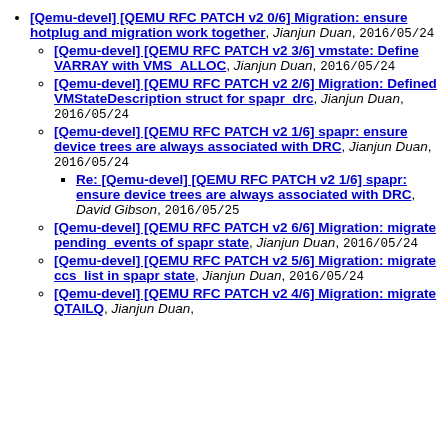[Qemu-devel] [QEMU RFC PATCH v2 0/6] Migration: ensure hotplug and migration work together, Jianjun Duan, 2016/05/24
[Qemu-devel] [QEMU RFC PATCH v2 3/6] vmstate: Define VARRAY with VMS_ALLOC, Jianjun Duan, 2016/05/24
[Qemu-devel] [QEMU RFC PATCH v2 2/6] Migration: Defined VMStateDescription struct for spapr_drc, Jianjun Duan, 2016/05/24
[Qemu-devel] [QEMU RFC PATCH v2 1/6] spapr: ensure device trees are always associated with DRC, Jianjun Duan, 2016/05/24
Re: [Qemu-devel] [QEMU RFC PATCH v2 1/6] spapr: ensure device trees are always associated with DRC, David Gibson, 2016/05/25
[Qemu-devel] [QEMU RFC PATCH v2 6/6] Migration: migrate pending_events of spapr state, Jianjun Duan, 2016/05/24
[Qemu-devel] [QEMU RFC PATCH v2 5/6] Migration: migrate ccs_list in spapr state, Jianjun Duan, 2016/05/24
[Qemu-devel] [QEMU RFC PATCH v2 4/6] Migration: migrate QTAILQ, Jianjun Duan,